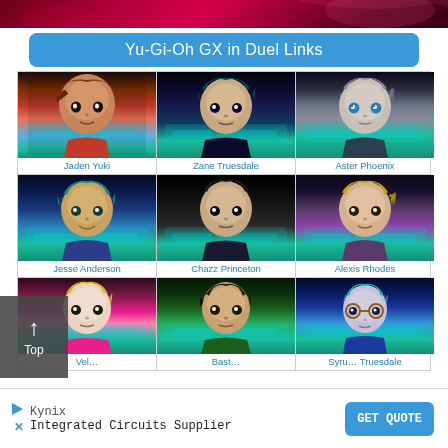[Figure (illustration): Top banner with red/pink gradient background from Yu-Gi-Oh GX anime]
Yu-Gi-Oh GX in Duel Links
[Figure (infographic): 3x3 grid of Yu-Gi-Oh GX character portraits with names: Jaden Yuki, Zane Truesdale, Aster Phoenix, Jesse Anderson, Chazz Princeton, Alexis Rhodes, Vellian Crowler (partial), Bastion Misawa (partial), Syrus Truesdale (partial)]
[Figure (infographic): Advertisement banner for Kynix Integrated Circuits Supplier with GET QUOTE button]